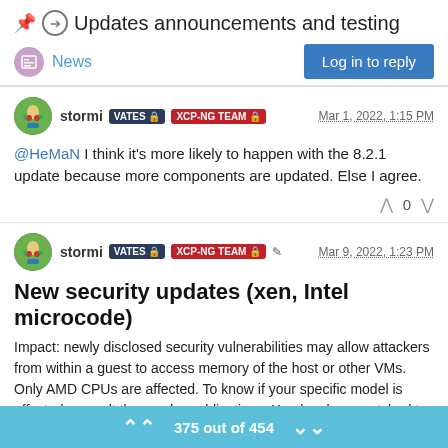Updates announcements and testing
News
Log in to reply
stormi VATES XCP-NG TEAM Mar 1, 2022, 1:15 PM
@HeMaN I think it's more likely to happen with the 8.2.1 update because more components are updated. Else I agree.
0
stormi VATES XCP-NG TEAM Mar 9, 2022, 1:23 PM
New security updates (xen, Intel microcode)
Impact: newly disclosed security vulnerabilities may allow attackers from within a guest to access memory of the host or other VMs. Only AMD CPUs are affected. To know if your specific model is affected, consult the vendor publications. Xen has been patched to
375 out of 454